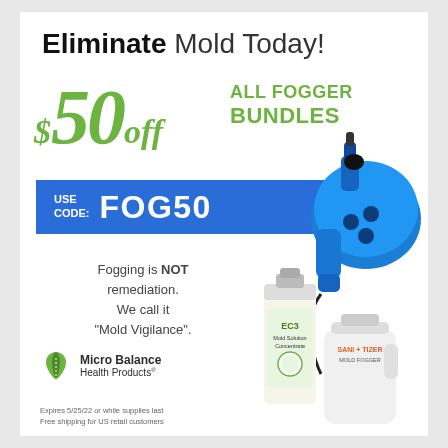Eliminate Mold Today!
$50 off ALL FOGGER BUNDLES
USE CODE: FOG50
Fogging is NOT remediation. We call it "Mold Vigilance".
[Figure (logo): Micro Balance Health Products logo with leaf/plant icon]
Expires 5/25/22 or while supplies last
Free shipping for US retail customers
[Figure (photo): Blue fogger machine device and product bottles (EC3 Mold Solution Concentrate and Sani-Tizer Mold Fogger)]